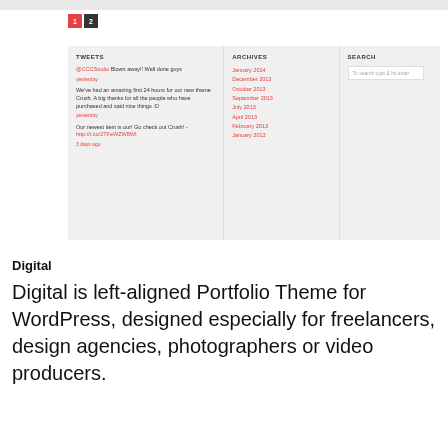[Figure (screenshot): Screenshot of a WordPress theme footer area showing pagination buttons (1, 2), and three widget columns: Tweets, Archives, and Search.]
Digital
Digital is left-aligned Portfolio Theme for WordPress, designed especially for freelancers, design agencies, photographers or video producers.